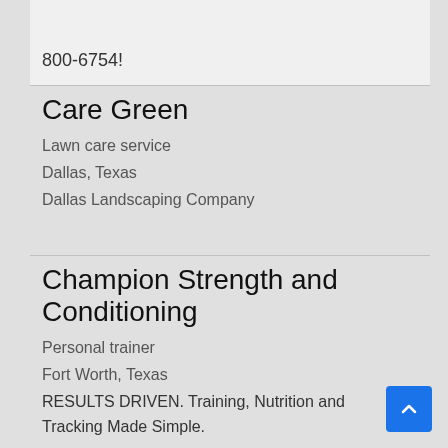800-6754!
Care Green
Lawn care service
Dallas, Texas
Dallas Landscaping Company
Champion Strength and Conditioning
Personal trainer
Fort Worth, Texas
RESULTS DRIVEN. Training, Nutrition and Tracking Made Simple.